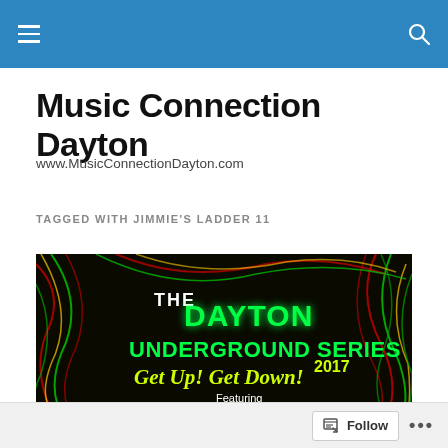Music Connection Dayton — navigation bar
Music Connection Dayton
www.MusicConnectionDayton.com
TAGGED WITH JIMMIE'S LADDER 11
[Figure (illustration): Promotional poster for The Dayton Underground Series 2017 — Get Up! Get Down! Featuring live performances from. Black background with colorful neon swirling lines in red, green, yellow. Text in glowing neon green and yellow lettering.]
Follow  •••